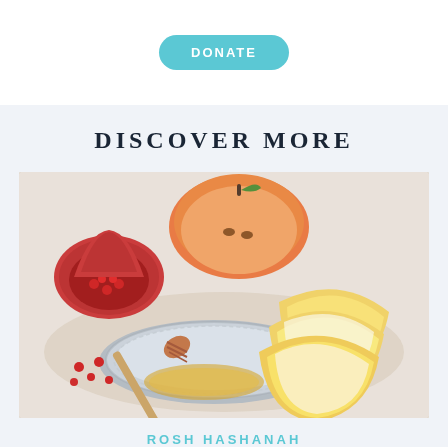[Figure (other): Teal rounded rectangle DONATE button on white background]
DISCOVER MORE
[Figure (photo): Rosh Hashanah food photo: apple slices on a decorative silver plate with a honey dipper and honey, pomegranate seeds and half pomegranate in the background on a white surface]
ROSH HASHANAH